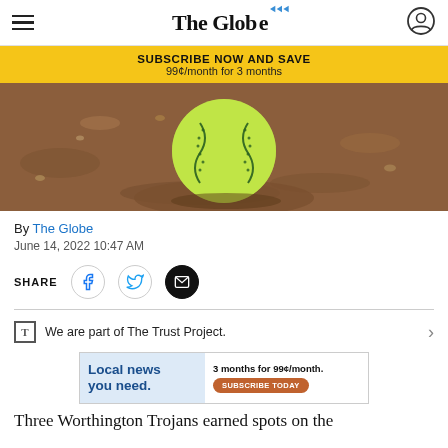The Globe
SUBSCRIBE NOW AND SAVE
99¢/month for 3 months
[Figure (photo): Close-up of a yellow-green softball resting on a dirt/clay infield surface]
By The Globe
June 14, 2022 10:47 AM
SHARE
We are part of The Trust Project.
Local news you need.
3 months for 99¢/month.
SUBSCRIBE TODAY
Three Worthington Trojans earned spots on the